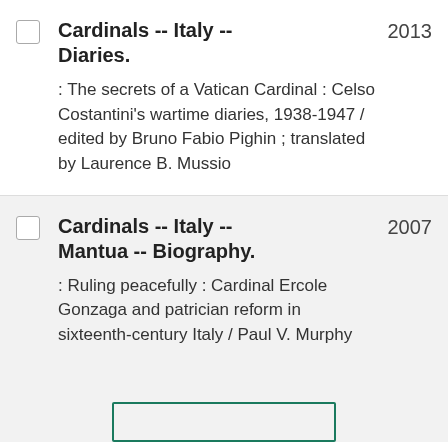Cardinals -- Italy -- Diaries. : The secrets of a Vatican Cardinal : Celso Costantini's wartime diaries, 1938-1947 / edited by Bruno Fabio Pighin ; translated by Laurence B. Mussio
Cardinals -- Italy -- Mantua -- Biography. : Ruling peacefully : Cardinal Ercole Gonzaga and patrician reform in sixteenth-century Italy / Paul V. Murphy